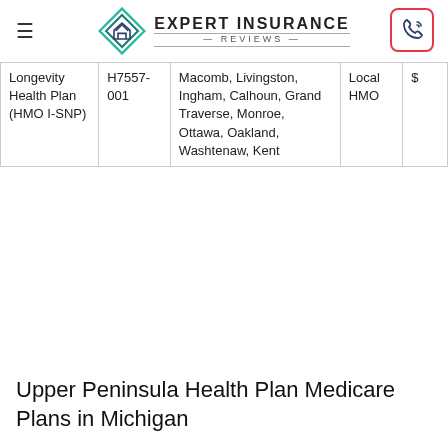Expert Insurance Reviews
| Longevity Health Plan (HMO I-SNP) | H7557-001 | Macomb, Livingston, Ingham, Calhoun, Grand Traverse, Monroe, Ottawa, Oakland, Washtenaw, Kent | Local HMO | $ |
Upper Peninsula Health Plan Medicare Plans in Michigan